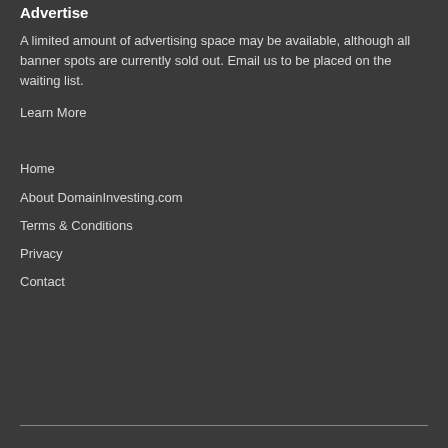Advertise
A limited amount of advertising space may be available, although all banner spots are currently sold out. Email us to be placed on the waiting list.
Learn More
Home
About DomainInvesting.com
Terms & Conditions
Privacy
Contact